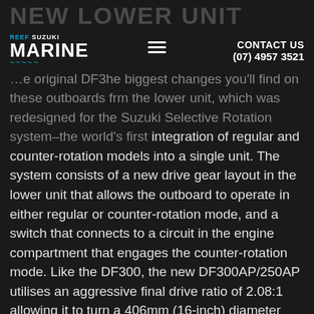NEW LOWER UNIT
Reef Suzuki Marine | CONTACT US (07) 4957 3521
…the original DF300, the biggest changes you'll find on these outboards from the lower unit, which was redesigned for the Suzuki Selective Rotation system–the world's first integration of regular and counter-rotation models into a single unit. The system consists of a new drive gear layout in the lower unit that allows the outboard to operate in either regular or counter-rotation mode, and a switch that connects to a circuit in the engine compartment that engages the counter-rotation mode. Like the DF300, the new DF300AP/250AP utilises an aggressive final drive ratio of 2.08:1 allowing it to turn a 406mm (16-inch) diameter propeller available in various pitch size for optimum performance on a wide variety of boats. Changes to gear designs provide greater durability, and adding a two-way water inlet